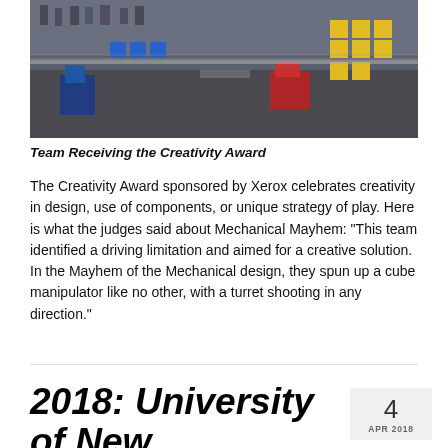[Figure (photo): Robotics arena photo showing teams with colorful FRC robots and game pieces on a competition field]
Team Receiving the Creativity Award
The Creativity Award sponsored by Xerox celebrates creativity in design, use of components, or unique strategy of play. Here is what the judges said about Mechanical Mayhem: "This team identified a driving limitation and aimed for a creative solution. In the Mayhem of the Mechanical design, they spun up a cube manipulator like no other, with a turret shooting in any direction."
2018: University of New Hampshire NE District Event